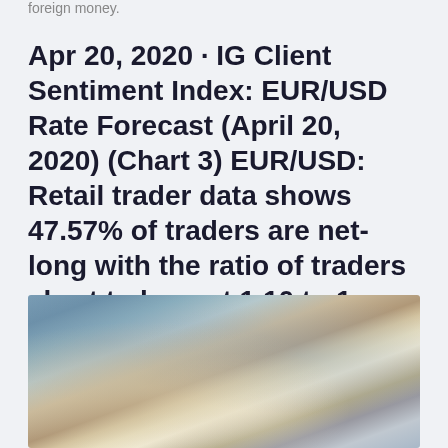foreign money.
Apr 20, 2020 · IG Client Sentiment Index: EUR/USD Rate Forecast (April 20, 2020) (Chart 3) EUR/USD: Retail trader data shows 47.57% of traders are net-long with the ratio of traders short to long at 1.10 to 1.
[Figure (photo): Blurred abstract photograph showing water or fluid textures with muted blue, tan, and white tones suggesting movement or turbulence.]